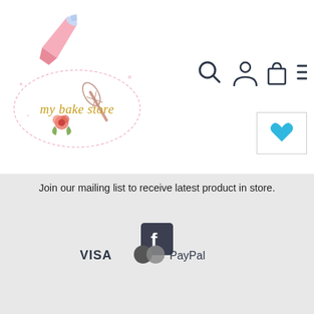[Figure (logo): My Bake Store logo with pink pastry bag, whisk, rose flower, and cursive text 'my bake store' in gold]
[Figure (illustration): Navigation icons: search magnifying glass, user account, shopping bag, and hamburger menu in dark navy color]
[Figure (illustration): Heart/wishlist button in a white box with blue heart icon]
Join our mailing list to receive latest product in store.
[Figure (screenshot): Email address input field in light pink with placeholder text 'Email address' and pink SUBSCRIBE button]
[Figure (logo): Facebook social media icon in dark grey/navy square with white 'f' letter]
[Figure (logo): Payment icons: VISA text logo, Mastercard overlapping circles logo, PayPal text logo]
[Figure (illustration): Scroll to top circular arrow button in teal/cyan outline]